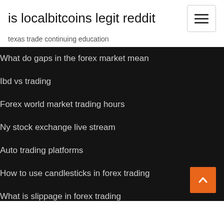is localbitcoins legit reddit
texas trade continuing education
What do gaps in the forex market mean
Ibd vs trading
Forex world market trading hours
Ny stock exchange live stream
Auto trading platforms
How to use candlesticks in forex trading
What is slippage in forex trading
What is crypto margin trading
Fx brl eur
Tsc tri state stock